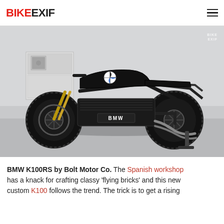BIKEEXIF
[Figure (photo): Side profile of a custom BMW K100RS motorcycle built by Bolt Motor Co., painted gloss black with knobby tires, gold front forks, exposed engine, and minimalist cafe racer bodywork, photographed in a white garage setting.]
BMW K100RS by Bolt Motor Co. The Spanish workshop has a knack for crafting classy 'flying bricks' and this new custom K100 follows the trend. The trick is to get a rising